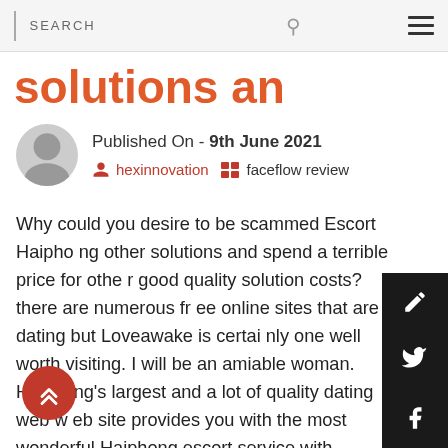SEARCH
solutions an
Published On - 9th June 2021
hexinnovation   faceflow review
Why could you desire to be scammed Escort Haiphong other solutions and spend a terrible price for other good quality solution costs? there are numerous fr online sites that are dating but Loveawake is certai one well worth visiting. I will be an amiable woman. Haiphong's largest and a lot of quality dating web w site provides you with the most wonderful Haiphong escort service with quality Haiphong escorts ads near you. I will be right right here, but where are you Escort Haiphong. Loveawake features a great quantity of